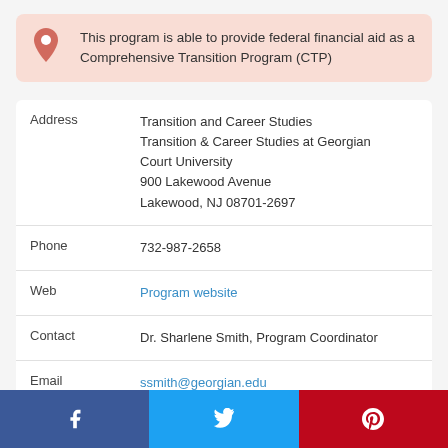This program is able to provide federal financial aid as a Comprehensive Transition Program (CTP)
| Field | Value |
| --- | --- |
| Address | Transition and Career Studies
Transition & Career Studies at Georgian Court University
900 Lakewood Avenue
Lakewood, NJ 08701-2697 |
| Phone | 732-987-2658 |
| Web | Program website |
| Contact | Dr. Sharlene Smith, Program Coordinator |
| Email | ssmith@georgian.edu |
Facebook | Twitter | Pinterest